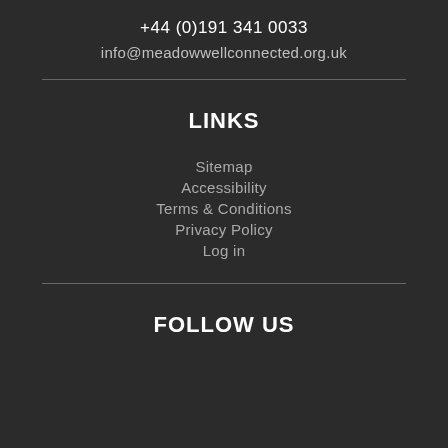+44 (0)191 341 0033
info@meadowwellconnected.org.uk
LINKS
Sitemap
Accessibility
Terms & Conditions
Privacy Policy
Log in
FOLLOW US